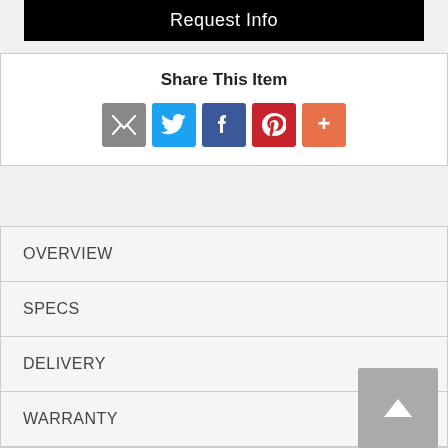[Figure (other): Request Info black button]
Share This Item
[Figure (infographic): Social share icons: email (grey), Twitter (blue), Facebook (blue), Pinterest (red), More (orange)]
OVERVIEW
SPECS
DELIVERY
WARRANTY
Group ID: B777